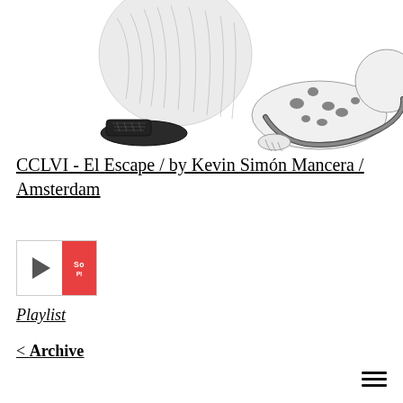[Figure (illustration): Pen and ink illustration showing lower body of a person in suit trousers and lace-up shoes, crouching beside a spotted big cat (leopard or cheetah) whose tail curves to the right. Black and white drawing style.]
CCLVI - El Escape / by Kevin Simón Mancera / Amsterdam
[Figure (other): Embedded SoundCloud audio player widget with play button and red SoundCloud badge showing 'So' and 'Pl' text (partially cropped)]
Playlist
< Archive